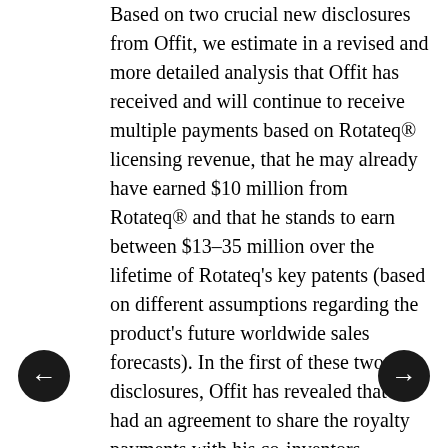Based on two crucial new disclosures from Offit, we estimate in a revised and more detailed analysis that Offit has received and will continue to receive multiple payments based on Rotateq® licensing revenue, that he may already have earned $10 million from Rotateq® and that he stands to earn between $13–35 million over the lifetime of Rotateq's key patents (based on different assumptions regarding the product's future worldwide sales forecasts). In the first of these two disclosures, Offit has revealed that he had an agreement to share the royalty payments with his co-inventors, Stanley Plotkin and Fred Clark; this agreement reduces our estimate of his payout from the Royalty Pharma deal, but since CHOP owned only half of the rights to the patents, we are now able to estimate his